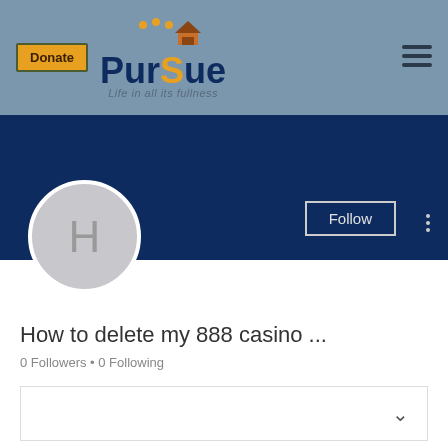[Figure (logo): Pursue logo with Donate button, house icon with people, tagline 'Life in all its fullness', and hamburger menu]
[Figure (screenshot): Dark blue profile banner with Follow button and three-dot menu; avatar circle with letter H]
How to delete my 888 casino ...
0 Followers • 0 Following
[Figure (screenshot): Collapsed dropdown box with chevron]
Profile
Join date: May 29, 2022